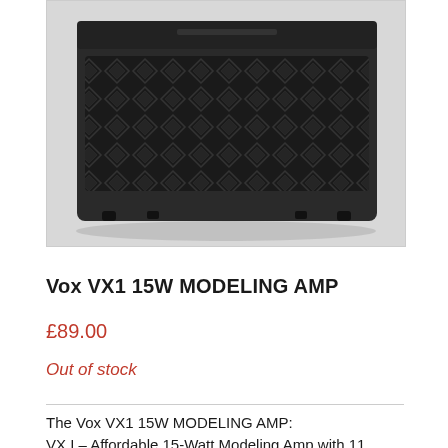[Figure (photo): Black Vox VX1 guitar amplifier with diamond-pattern grille cloth, viewed from a slightly elevated angle. The amp is a compact combo style with a dark textured cabinet.]
Vox VX1 15W MODELING AMP
£89.00
Out of stock
The Vox VX1 15W MODELING AMP:
VX I – Affordable 15-Watt Modeling Amp with 11